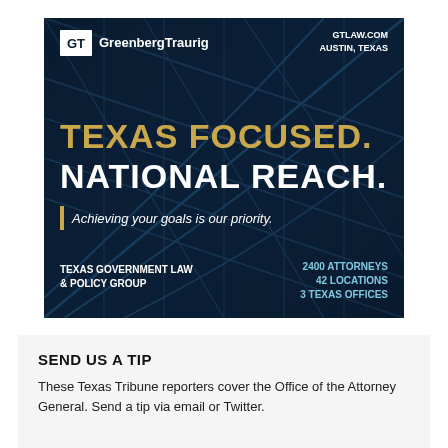[Figure (illustration): Greenberg Traurig law firm advertisement. Dark blue glass geometric building background. Top left: GT logo box and 'GreenbergTraurig' text. Top right: 'GTLAW.COM / AUSTIN, TEXAS'. Center large text: 'TEXAS FOCUSED.' in gold/yellow and 'NATIONAL REACH.' in white bold. Below: vertical gold bar with 'Achieving your goals is our priority.' Bottom left: 'TEXAS GOVERNMENT LAW & POLICY GROUP'. Bottom right: '2400 ATTORNEYS / 42 LOCATIONS / 3 TEXAS OFFICES'.]
SEND US A TIP
These Texas Tribune reporters cover the Office of the Attorney General. Send a tip via email or Twitter.